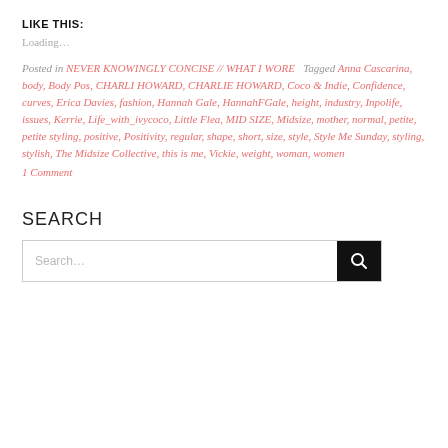LIKE THIS:
Loading…
Posted in NEVER KNOWINGLY CONCISE // WHAT I WORE   Tagged Anna Cascarina, body, Body Pos, CHARLI HOWARD, CHARLIE HOWARD, Coco & Indie, Confidence, curves, Erica Davies, fashion, Hannah Gale, HannahFGale, height, industry, Inpolife, issues, Kerrie, Life_with_ivycoco, Little Flea, MID SIZE, Midsize, mother, normal, petite, petite styling, positive, Positivity, regular, shape, short, size, style, Style Me Sunday, styling, stylish, The Midsize Collective, this is me, Vickie, weight, woman, women
1 Comment
SEARCH